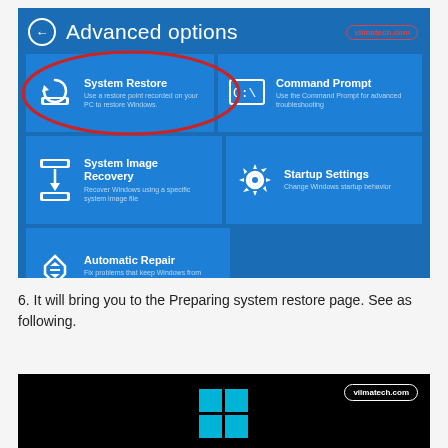[Figure (screenshot): Windows Advanced Options screen showing System Restore (highlighted with red oval), Command Prompt, System Image Recovery, Startup Settings, and Automatic Repair tiles on a blue background. vilmatech.com watermark in top right.]
6. It will bring you to the Preparing system restore page. See as following.
[Figure (screenshot): Black screen with Windows logo (cyan squares) in the center and vilmatech.com watermark in a white oval in the top right corner, representing the Preparing system restore page.]